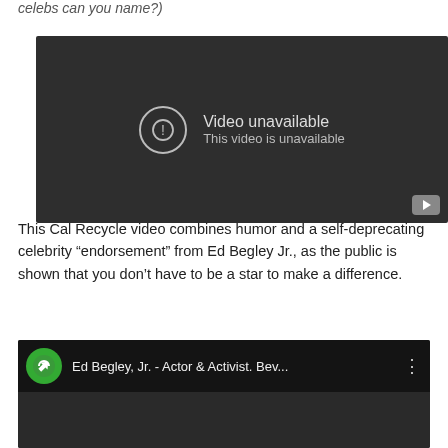celebs can you name?)
[Figure (screenshot): Embedded video player showing 'Video unavailable – This video is unavailable' message on dark background with YouTube play button]
This Cal Recycle video combines humor and a self-deprecating celebrity “endorsement” from Ed Begley Jr., as the public is shown that you don’t have to be a star to make a difference.
[Figure (screenshot): Thumbnail of a YouTube video titled 'Ed Begley, Jr. - Actor & Activist. Bev...' with a green recycling logo]